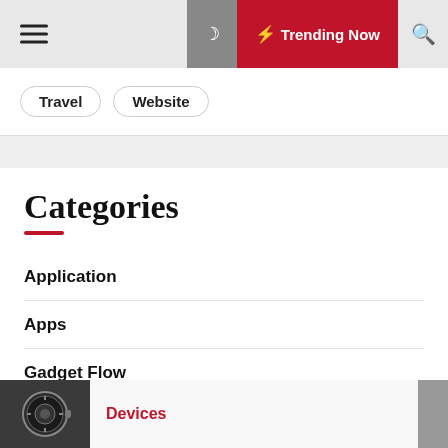☰ ☽ ⚡ Trending Now 🔍
Travel
Website
Categories
Application
Apps
Gadget Flow
Gadget Guard
Gadget News
Devices